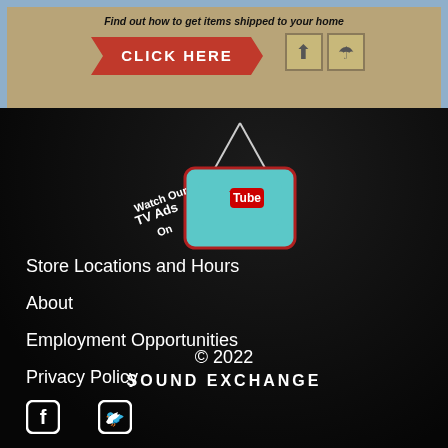Find out how to get items shipped to your home
[Figure (screenshot): Red arrow-shaped banner button with text CLICK HERE in white, and two shipping icons (arrows up and umbrella) on cardboard background]
[Figure (screenshot): Watch Our TV Ads On YouTube - retro TV illustration with YouTube logo on teal screen, antennas above, on dark textured background]
Store Locations and Hours
About
Employment Opportunities
Privacy Policy
© 2022
Sound Exchange
[Figure (logo): Facebook and Twitter social media icons in white on dark background]